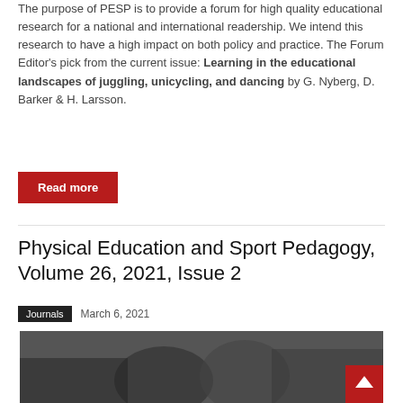The purpose of PESP is to provide a forum for high quality educational research for a national and international readership. We intend this research to have a high impact on both policy and practice. The Forum Editor's pick from the current issue: Learning in the educational landscapes of juggling, unicycling, and dancing by G. Nyberg, D. Barker & H. Larsson.
Read more
Physical Education and Sport Pedagogy, Volume 26, 2021, Issue 2
Journals   March 6, 2021
[Figure (photo): Photo of children/students, dark-toned image showing people from behind or side view]